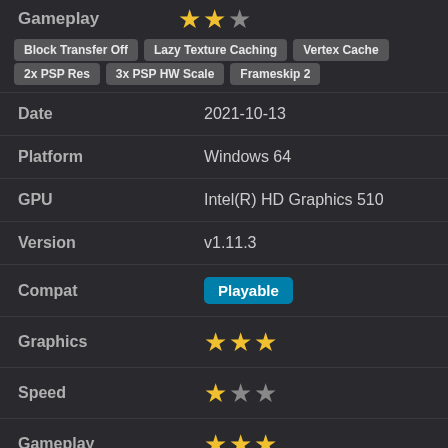Gameplay ★★☆ (2 stars out of 3)
Block Transfer Off
Lazy Texture Caching
Vertex Cache
2x PSP Res
3x PSP HW Scale
Frameskip 2
| Field | Value |
| --- | --- |
| Date | 2021-10-13 |
| Platform | Windows 64 |
| GPU | Intel(R) HD Graphics 510 |
| Version | v1.11.3 |
| Compat | Playable |
| Graphics | ★★★ (3 stars) |
| Speed | ★☆☆ (1 star) |
| Gameplay | ★★★ (3 stars) |
Force Max FPS Off
1x PSP Res
CRC b29c50a5